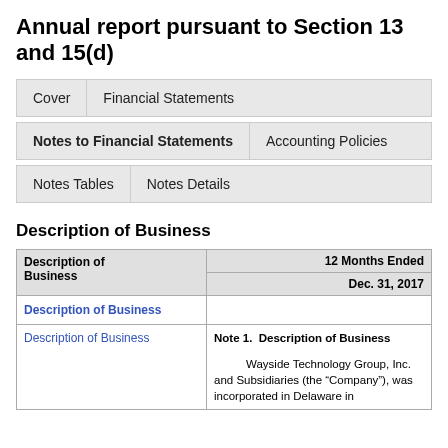Annual report pursuant to Section 13 and 15(d)
| Cover | Financial Statements |
| --- | --- |
| Notes to Financial Statements | Accounting Policies |
| --- | --- |
| Notes Tables | Notes Details |
| --- | --- |
Description of Business
| Description of Business | 12 Months Ended
Dec. 31, 2017 |
| --- | --- |
| Description of Business |  |
| Description of Business | Note 1.  Description of Business

Wayside Technology Group, Inc. and Subsidiaries (the “Company”), was incorporated in Delaware in |